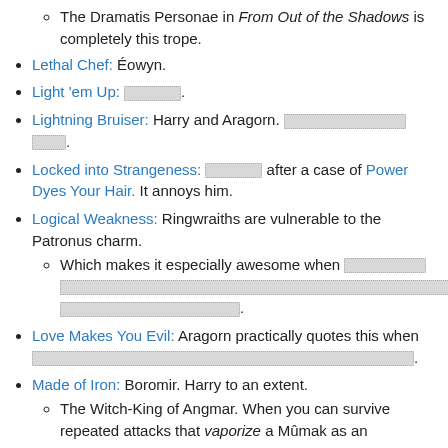The Dramatis Personae in From Out of the Shadows is completely this trope.
Lethal Chef: Éowyn.
Light 'em Up: [redacted].
Lightning Bruiser: Harry and Aragorn. [redacted] [redacted].
Locked into Strangeness: [redacted] after a case of Power Dyes Your Hair. It annoys him.
Logical Weakness: Ringwraiths are vulnerable to the Patronus charm.
Which makes it especially awesome when [redacted] [redacted] [redacted].
Love Makes You Evil: Aragorn practically quotes this when [redacted].
Made of Iron: Boromir. Harry to an extent.
The Witch-King of Angmar. When you can survive repeated attacks that vaporize a Mûmak as an